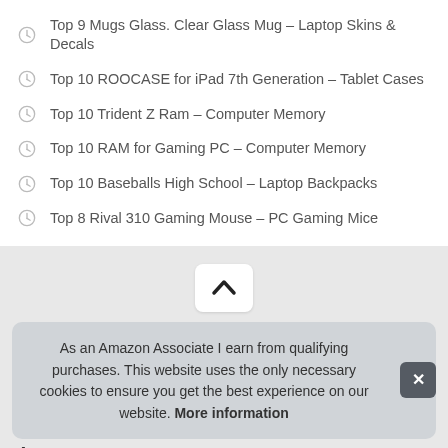Top 9 Mugs Glass. Clear Glass Mug – Laptop Skins & Decals
Top 10 ROOCASE for iPad 7th Generation – Tablet Cases
Top 10 Trident Z Ram – Computer Memory
Top 10 RAM for Gaming PC – Computer Memory
Top 10 Baseballs High School – Laptop Backpacks
Top 8 Rival 310 Gaming Mouse – PC Gaming Mice
[Figure (other): Back to top chevron button]
As an Amazon Associate I earn from qualifying purchases. This website uses the only necessary cookies to ensure you get the best experience on our website. More information
Ass
to provide a means for sites to earn advertising fees by